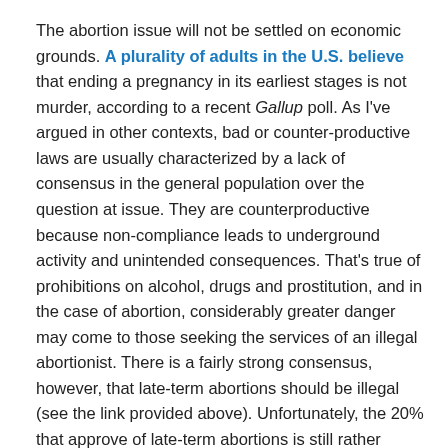The abortion issue will not be settled on economic grounds. A plurality of adults in the U.S. believe that ending a pregnancy in its earliest stages is not murder, according to a recent Gallup poll. As I've argued in other contexts, bad or counter-productive laws are usually characterized by a lack of consensus in the general population over the question at issue. They are counterproductive because non-compliance leads to underground activity and unintended consequences. That's true of prohibitions on alcohol, drugs and prostitution, and in the case of abortion, considerably greater danger may come to those seeking the services of an illegal abortionist. There is a fairly strong consensus, however, that late-term abortions should be illegal (see the link provided above). Unfortunately, the 20% that approve of late-term abortions is still rather significant.